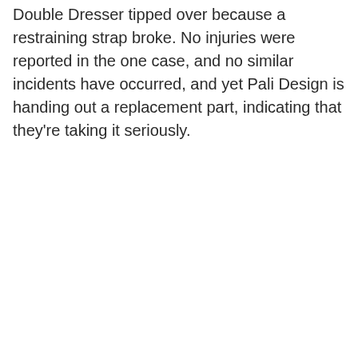Double Dresser tipped over because a restraining strap broke. No injuries were reported in the one case, and no similar incidents have occurred, and yet Pali Design is handing out a replacement part, indicating that they're taking it seriously.